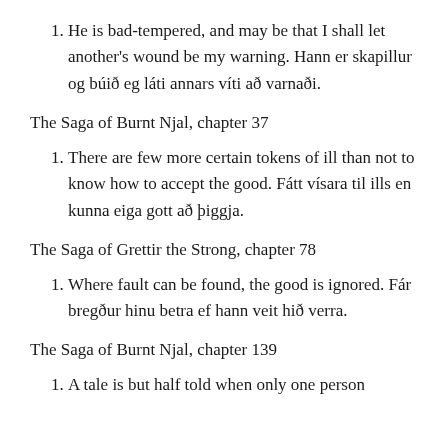He is bad-tempered, and may be that I shall let another's wound be my warning. Hann er skapillur og búið eg láti annars víti að varnaði.
The Saga of Burnt Njal, chapter 37
There are few more certain tokens of ill than not to know how to accept the good. Fátt vísara til ills en kunna eiga gott að þiggja.
The Saga of Grettir the Strong, chapter 78
Where fault can be found, the good is ignored. Fár bregður hinu betra ef hann veit hið verra.
The Saga of Burnt Njal, chapter 139
A tale is but half told when only one person